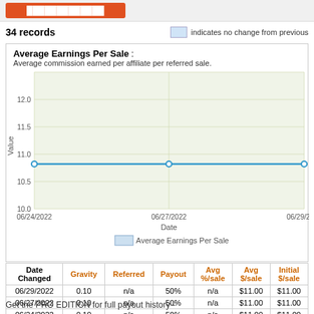34 records    indicates no change from previous
[Figure (line-chart): Average Earnings Per Sale]
| Date Changed | Gravity | Referred | Payout | Avg %/sale | Avg $/sale | Initial $/sale |
| --- | --- | --- | --- | --- | --- | --- |
| 06/29/2022 | 0.10 | n/a | 50% | n/a | $11.00 | $11.00 |
| 06/27/2022 | 0.10 | n/a | 50% | n/a | $11.00 | $11.00 |
| 06/24/2022 | 0.10 | n/a | 50% | n/a | $11.00 | $11.00 |
Get the PRO EDITION for full payout history -